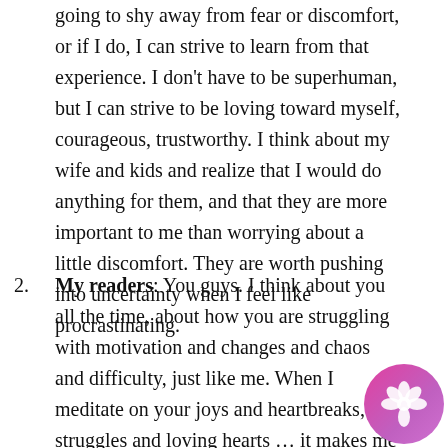going to shy away from fear or discomfort, or if I do, I can strive to learn from that experience. I don't have to be superhuman, but I can strive to be loving toward myself, courageous, trustworthy. I think about my wife and kids and realize that I would do anything for them, and that they are more important to me than worrying about a little discomfort. They are worth pushing into uncertainty when I feel like procrastinating.
My readers: You guys. I think about you all the time, about how you are struggling with motivation and changes and chaos and difficulty, just like me. When I meditate on your joys and heartbreaks, struggles and loving hearts … it makes me feel connected to you. We are in this together. A… want nothing less than to do this work for yo… of love for you.